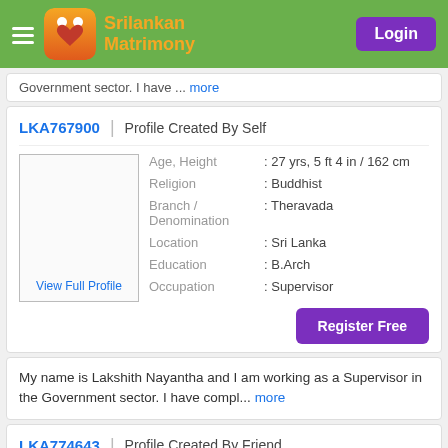SriLankan Matrimony
Government sector. I have ... more
LKA767900 | Profile Created By Self
[Figure (other): Profile photo placeholder with 'View Full Profile' link]
| Field | Value |
| --- | --- |
| Age, Height | : 27 yrs, 5 ft 4 in / 162 cm |
| Religion | : Buddhist |
| Branch / Denomination | : Theravada |
| Location | : Sri Lanka |
| Education | : B.Arch |
| Occupation | : Supervisor |
Register Free
My name is Lakshith Nayantha and I am working as a Supervisor in the Government sector. I have compl... more
LKA774643 | Profile Created By Friend